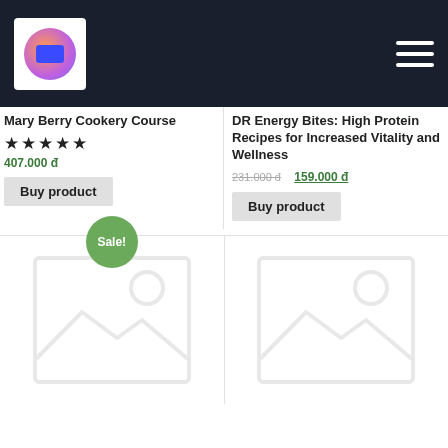[Figure (screenshot): Navigation bar with logo and hamburger menu on dark background]
Mary Berry Cookery Course
★★★★★
407.000 đ
Buy product
DR Energy Bites: High Protein Recipes for Increased Vitality and Wellness
231.000 đ  159.000 đ
Buy product
[Figure (illustration): Product placeholder image with Sale! badge overlay]
[Figure (illustration): Product placeholder image]